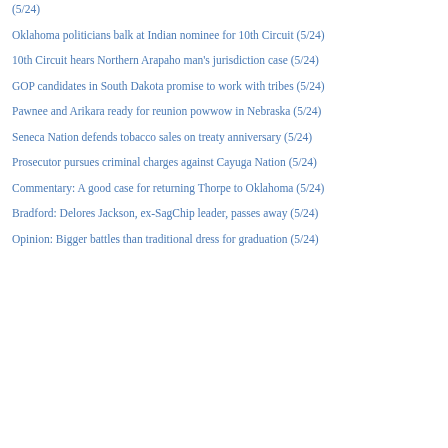(5/24)
Oklahoma politicians balk at Indian nominee for 10th Circuit (5/24)
10th Circuit hears Northern Arapaho man's jurisdiction case (5/24)
GOP candidates in South Dakota promise to work with tribes (5/24)
Pawnee and Arikara ready for reunion powwow in Nebraska (5/24)
Seneca Nation defends tobacco sales on treaty anniversary (5/24)
Prosecutor pursues criminal charges against Cayuga Nation (5/24)
Commentary: A good case for returning Thorpe to Oklahoma (5/24)
Bradford: Delores Jackson, ex-SagChip leader, passes away (5/24)
Opinion: Bigger battles than traditional dress for graduation (5/24)